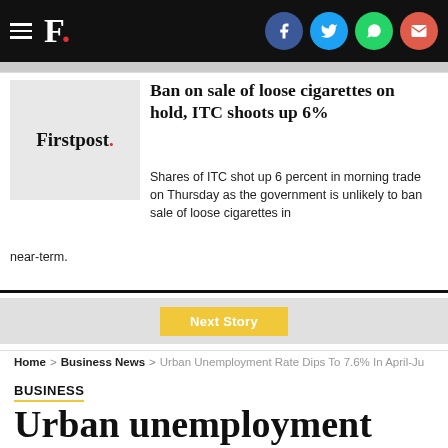F. [Firstpost logo with social icons: Facebook, Twitter, WhatsApp, Email]
[Figure (logo): Firstpost logo thumbnail image placeholder (grey background)]
Ban on sale of loose cigarettes on hold, ITC shoots up 6%
Shares of ITC shot up 6 percent in morning trade on Thursday as the government is unlikely to ban sale of loose cigarettes in near-term.
Next Story
Home > Business News > Urban Unemployment Rate Dips To 7.6% In April-Ju
BUSINESS
Urban unemployment rate